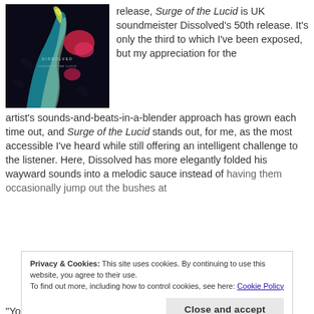[Figure (photo): Album cover for 'Surge of the Lucid' by Dissolved — dark background with abstract colorful figures in teal, red, and yellow-green, with text 'DISSOLVED' and 'SURGE OF THE LUCID' on the cover.]
release, Surge of the Lucid is UK soundmeister Dissolved's 50th release. It's only the third to which I've been exposed, but my appreciation for the artist's sounds-and-beats-in-a-blender approach has grown each time out, and Surge of the Lucid stands out, for me, as the most accessible I've heard while still offering an intelligent challenge to the listener. Here, Dissolved has more elegantly folded his wayward sounds into a melodic sauce instead of having them occasionally jump out the bushes at
Privacy & Cookies: This site uses cookies. By continuing to use this website, you agree to their use.
To find out more, including how to control cookies, see here: Cookie Policy
"Your Age in Shark Years" starts with thick, rumbling